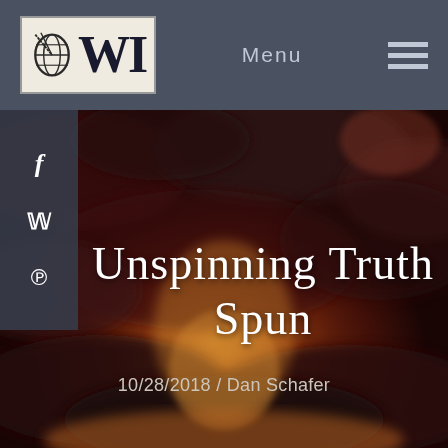WI — Menu
[Figure (photo): Dark dramatic sky with clouds and a glowing orange-red light on the horizon, used as a hero background image for an article page.]
Unspinning Truth Spun
10/28/2018 / Dan Schafer